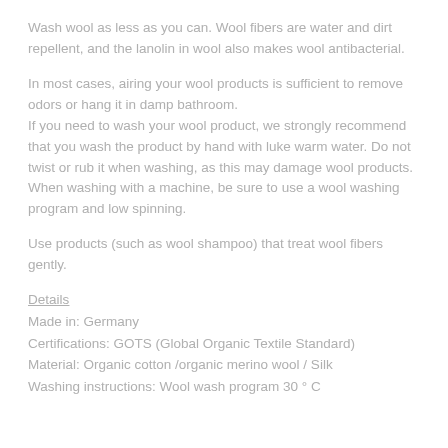Wash wool as less as you can. Wool fibers are water and dirt repellent, and the lanolin in wool also makes wool antibacterial.
In most cases, airing your wool products is sufficient to remove odors or hang it in damp bathroom.
If you need to wash your wool product, we strongly recommend that you wash the product by hand with luke warm water. Do not twist or rub it when washing, as this may damage wool products. When washing with a machine, be sure to use a wool washing program and low spinning.
Use products (such as wool shampoo) that treat wool fibers gently.
Details
Made in: Germany
Certifications: GOTS (Global Organic Textile Standard)
Material: Organic cotton /organic merino wool / Silk
Washing instructions: Wool wash program 30 ° C